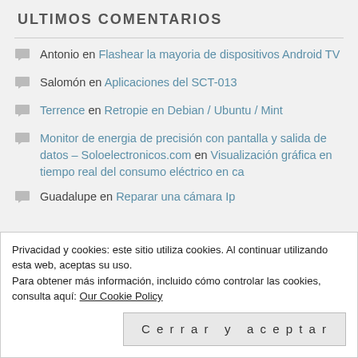ULTIMOS COMENTARIOS
Antonio en Flashear la mayoria de dispositivos Android TV
Salomón en Aplicaciones del SCT-013
Terrence en Retropie en Debian / Ubuntu / Mint
Monitor de energia de precisión con pantalla y salida de datos – Soloelectronicos.com en Visualización gráfica en tiempo real del consumo eléctrico en ca
Guadalupe en Reparar una cámara Ip
Privacidad y cookies: este sitio utiliza cookies. Al continuar utilizando esta web, aceptas su uso.
Para obtener más información, incluido cómo controlar las cookies, consulta aquí: Our Cookie Policy
Cerrar y aceptar